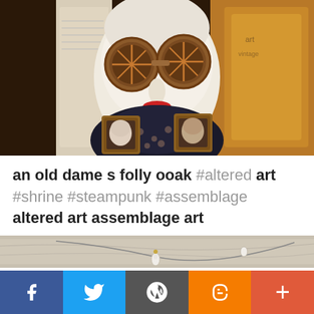[Figure (photo): Steampunk assemblage art showing a white ceramic face/head with large decorative goggles wearing a dark dotted outfit, flanked by two small framed portrait miniatures, with vintage paper and fabric elements in the background.]
an old dame s folly ooak #altered art #shrine #steampunk #assemblage altered art assemblage art
[Figure (photo): Close-up photo of a delicate necklace or jewelry piece with a pearl or crystal drop pendant on a thin metal chain, laid out on a marble or stone surface.]
f  [Twitter bird]  [WordPress logo]  [Blogger B]  +